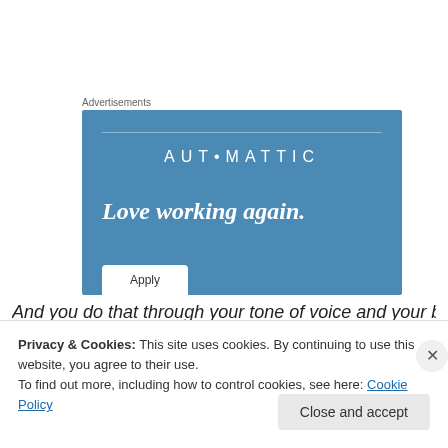Advertisements
[Figure (illustration): Automattic advertisement banner with blue background showing 'AUTOMATTIC' brand name, tagline 'Love working again.' in italic white text, and an 'Apply' button at the bottom left.]
And you do that through your tone of voice and your body
Privacy & Cookies: This site uses cookies. By continuing to use this website, you agree to their use.
To find out more, including how to control cookies, see here: Cookie Policy
Close and accept